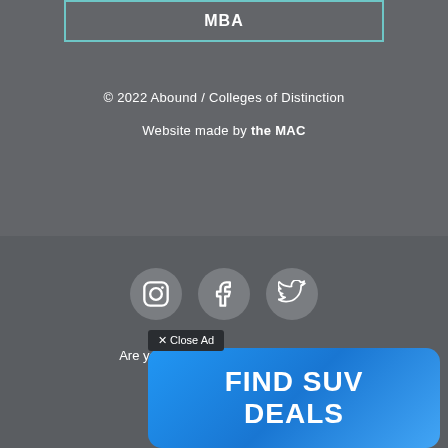MBA
© 2022 Abound / Colleges of Distinction
Website made by the MAC
[Figure (other): Social media icons: Instagram, Facebook, Twitter in circular grey buttons]
Are you a high school student? Ch...
[Figure (other): Advertisement banner with blue background reading FIND SUV DEALS with a Close Ad button overlay]